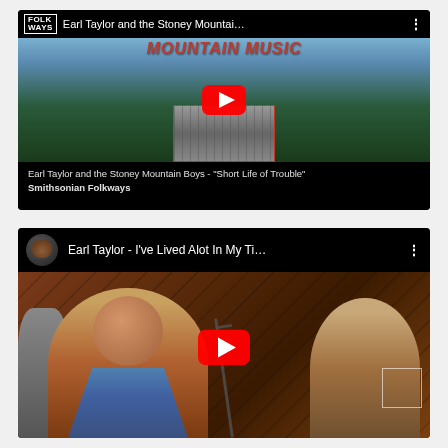[Figure (screenshot): YouTube video thumbnail: Earl Taylor and the Stoney Mountain Boys - 'Short Life of Trouble', Smithsonian Folkways. Shows Folk Ways logo, mountain scenery album art with MOUNTAIN MUSIC text, a black-and-white photo of band members, and a YouTube play button.]
[Figure (screenshot): YouTube video thumbnail: Earl Taylor - I've Lived Alot In My Ti... Shows a man (Earl Taylor) at a microphone in a colorful shirt, another person on the right, with a YouTube play button overlay.]